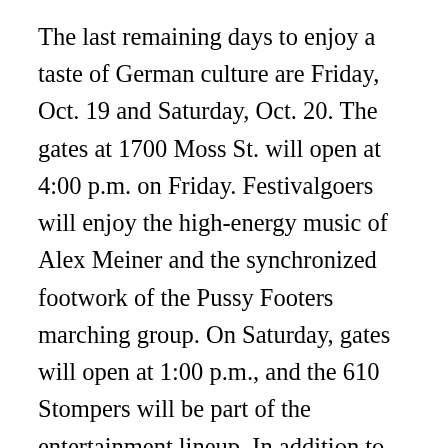The last remaining days to enjoy a taste of German culture are Friday, Oct. 19 and Saturday, Oct. 20. The gates at 1700 Moss St. will open at 4:00 p.m. on Friday. Festivalgoers will enjoy the high-energy music of Alex Meiner and the synchronized footwork of the Pussy Footers marching group. On Saturday, gates will open at 1:00 p.m., and the 610 Stompers will be part of the entertainment lineup. In addition to enjoying abundant food, drink, and music, guests will be able to bet on their favorite weiner dog in a Dachshund race to benefit Animal Rescue New Orleans.
For additional information and to order